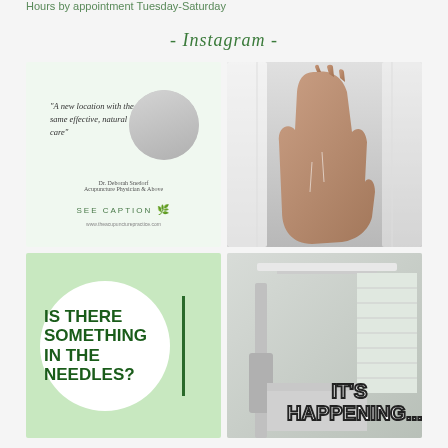Hours by appointment Tuesday-Saturday
- Instagram -
[Figure (photo): Promotional quote card for acupuncture practice with photo of Dr. Deborah Snedorf, quote text 'A new location with the same effective, natural care', see caption text and website URL]
[Figure (photo): Close-up photo of a hand with acupuncture needles against white fabric background]
[Figure (photo): Light green background with white circle and bold green text reading 'IS THERE SOMETHING IN THE NEEDLES?' with vertical green bar]
[Figure (photo): Photo of medical/acupuncture clinic equipment with bold text reading 'IT'S HAPPENING....']